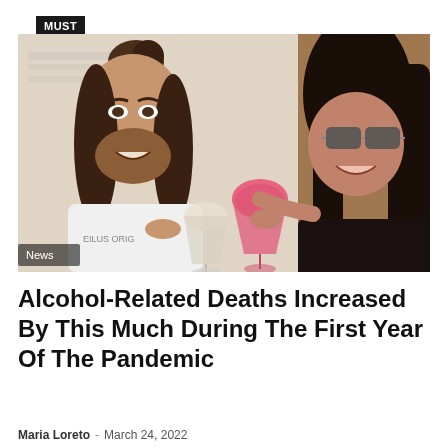MUST READ
[Figure (photo): A man with a man-bun and beard in a white t-shirt (EILUS ORIG) and a woman with long dark hair wearing sunglasses, clinking wine glasses together and laughing. The woman holds a red/pink drink in a round goblet. Indoor setting with blurred background. A 'News' label overlays the bottom-left corner.]
Alcohol-Related Deaths Increased By This Much During The First Year Of The Pandemic
Maria Loreto · March 24, 2022